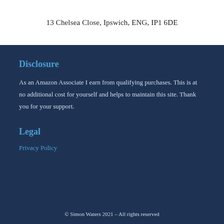13 Chelsea Close, Ipswich, ENG, IP1 6DE
Disclosure
As an Amazon Associate I earn from qualifying purchases. This is at no additional cost for yourself and helps to maintain this site. Thank you for your support.
Legal
Privacy Policy
© Simon Waters 2021 – All rights reserved